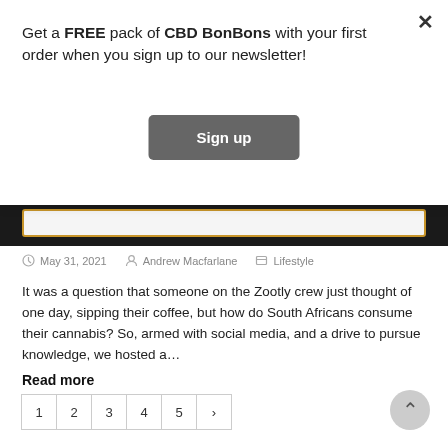Get a FREE pack of CBD BonBons with your first order when you sign up to our newsletter!
Sign up
May 31, 2021   Andrew Macfarlane   Lifestyle
It was a question that someone on the Zootly crew just thought of one day, sipping their coffee, but how do South Africans consume their cannabis? So, armed with social media, and a drive to pursue knowledge, we hosted a…
Read more
1  2  3  4  5  >